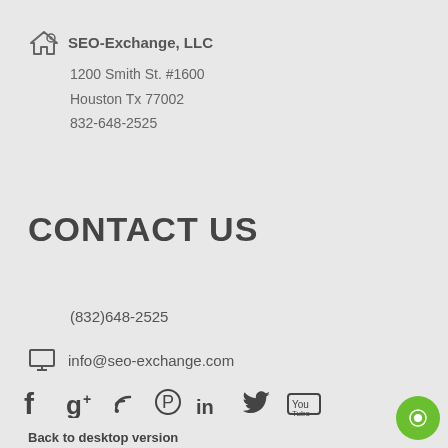SEO-Exchange, LLC
1200 Smith St. #1600
Houston Tx 77002
832-648-2525
CONTACT US
(832)648-2525
info@seo-exchange.com
[Figure (infographic): Social media icons: Facebook, Google+, RSS, Pinterest, LinkedIn, Twitter, YouTube]
Back to desktop version